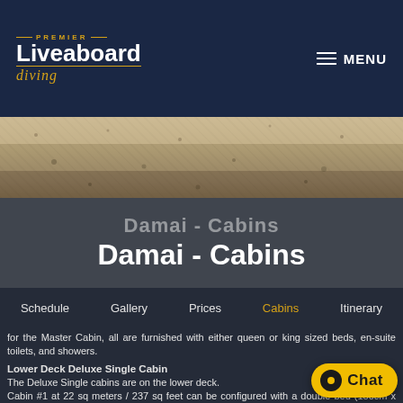PREMIER Liveaboard diving — MENU
[Figure (photo): Aerial or underwater nature photo used as hero banner image]
Damai - Cabins
Schedule | Gallery | Prices | Cabins | Itinerary
for the Master Cabin, all are furnished with either queen or king sized beds, en-suite toilets, and showers.
Lower Deck Deluxe Single Cabin
The Deluxe Single cabins are on the lower deck.
Cabin #1 at 22 sq meters / 237 sq feet can be configured with a double bed (180cm x 200cm) or two single beds (90cm x 200cm each). It has a desk and a wardrobe, three reading lights and a bed side table.
Cabin #2 at 16 sq meters / 172 sq feet is configured with a bed (160cm x 200cm), a desk and a wardrobe. There are two reading lights and a bed side table.